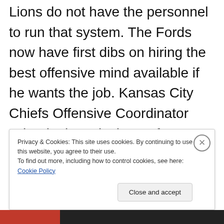Lions do not have the personnel to run that system. The Fords now have first dibs on hiring the best offensive mind available if he wants the job. Kansas City Chiefs Offensive Coordinator Eric Bieniemy is the perfect candidate for the job. Harbaugh's next job should be as a commentator for Fox Sports or CBS. He could be a second Tony Romo type
Privacy & Cookies: This site uses cookies. By continuing to use this website, you agree to their use. To find out more, including how to control cookies, see here: Cookie Policy